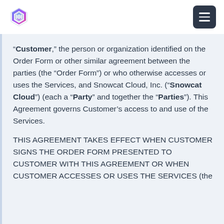Snowcat Cloud logo and navigation menu
“Customer,” the person or organization identified on the Order Form or other similar agreement between the parties (the “Order Form”) or who otherwise accesses or uses the Services, and Snowcat Cloud, Inc. (“Snowcat Cloud”) (each a “Party” and together the “Parties”). This Agreement governs Customer’s access to and use of the Services.
THIS AGREEMENT TAKES EFFECT WHEN CUSTOMER SIGNS THE ORDER FORM PRESENTED TO CUSTOMER WITH THIS AGREEMENT OR WHEN CUSTOMER ACCESSES OR USES THE SERVICES (the